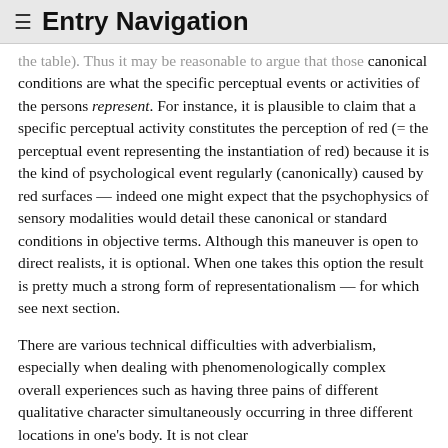≡ Entry Navigation
…thought about when one actually had a red ripe apple on the table). Thus it may be reasonable to argue that those canonical conditions are what the specific perceptual events or activities of the persons represent. For instance, it is plausible to claim that a specific perceptual activity constitutes the perception of red (= the perceptual event representing the instantiation of red) because it is the kind of psychological event regularly (canonically) caused by red surfaces — indeed one might expect that the psychophysics of sensory modalities would detail these canonical or standard conditions in objective terms. Although this maneuver is open to direct realists, it is optional. When one takes this option the result is pretty much a strong form of representationalism — for which see next section.
There are various technical difficulties with adverbialism, especially when dealing with phenomenologically complex overall experiences such as having three pains of different qualitative character simultaneously occurring in three different locations in one's body. It is not clear